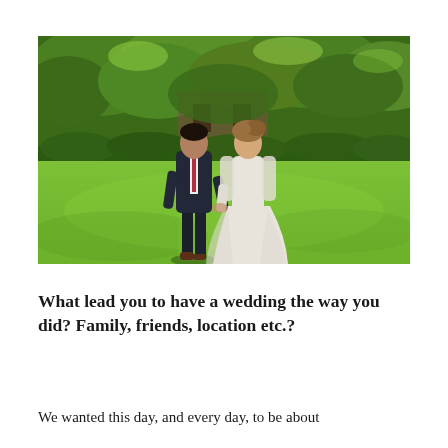[Figure (photo): A couple walking hand-in-hand on a green lawn in front of lush trees and a brick building. The man wears a dark suit with a red tie, and the woman wears a flowing white wedding dress with long sleeves.]
What lead you to have a wedding the way you did? Family, friends, location etc.?
We wanted this day, and every day, to be about